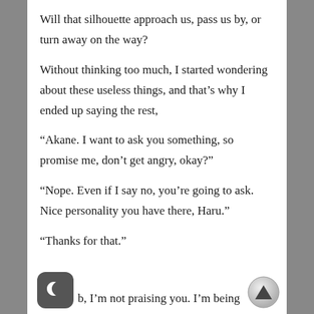Will that silhouette approach us, pass us by, or turn away on the way?
Without thinking too much, I started wondering about these useless things, and that's why I ended up saying the rest,
“Akane. I want to ask you something, so promise me, don’t get angry, okay?”
“Nope. Even if I say no, you’re going to ask. Nice personality you have there, Haru.”
“Thanks for that.”
b, I’m not praising you. I’m being sarcastic.”